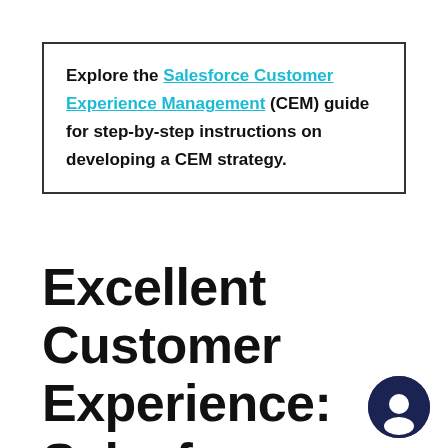Explore the Salesforce Customer Experience Management (CEM) guide for step-by-step instructions on developing a CEM strategy.
Excellent Customer Experience: Salesforce Standards Applied